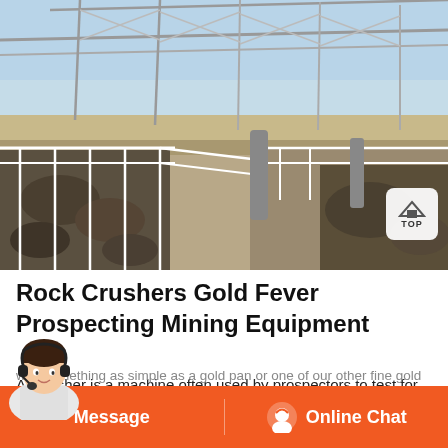[Figure (photo): Aerial/elevated view of a gold mining or rock crushing facility with metal scaffolding framework overhead, large open pits containing rocks/ore, white metal railings, conveyor structures, and arid landscape in background under clear blue sky.]
Rock Crushers Gold Fever Prospecting Mining Equipment
A crusher is a machine often used by prospectors to test for gold and other
with something as simple as a gold pan or one of our other fine gold